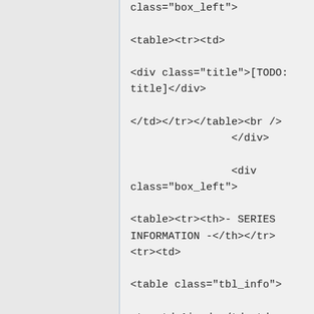class="box_left">

<table><tr><td>

<div class="title">[TODO: title]</div>

</td></tr></table><br />
                </div>

                <div class="box_left">

<table><tr><th>- SERIES INFORMATION -</th></tr><tr><td>

<table class="tbl_info">

<tr><td>Aired:</td><td>[TODO: aired]</td></tr>

<tr><td>Episodes:</td><td>[TODO: episodes]</td></tr>